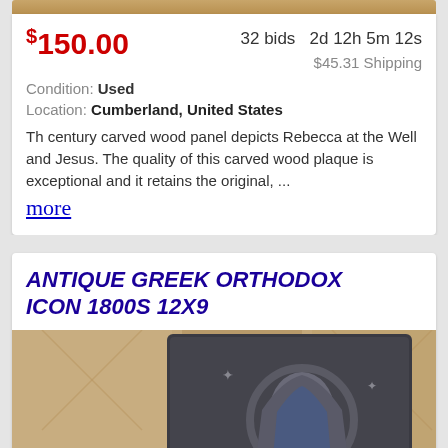[Figure (photo): Top strip of an antique carved wood panel listing image (partially visible at top)]
$150.00   32 bids   2d 12h 5m 12s   $45.31 Shipping
Condition: Used
Location: Cumberland, United States
Th century carved wood panel depicts Rebecca at the Well and Jesus. The quality of this carved wood plaque is exceptional and it retains the original, ...
more
ANTIQUE GREEK ORTHODOX ICON 1800s 12x9
[Figure (photo): Photograph of an antique Greek Orthodox icon from the 1800s, showing a metal relief depicting the Virgin Mary with halo and child, set against a stone/sandy background]